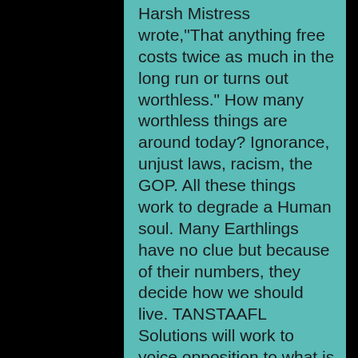Harsh Mistress wrote,"That anything free costs twice as much in the long run or turns out worthless." How many worthless things are around today? Ignorance, unjust laws, racism, the GOP. All these things work to degrade a Human soul. Many Earthlings have no clue but because of their numbers, they decide how we should live. TANSTAAFL Solutions will work to voice opposition to what is wrong today. It is time to take responsibility and work for direct action to change. We hope to encourage, entertain and inspire others to join us and amputate the rancid 20th century mentality which has corrupted our time. We believe in a global world culture of Planet Terra and everyone has the right to freedom, equality and to live responsibly in peace. We also understand that any of these goals